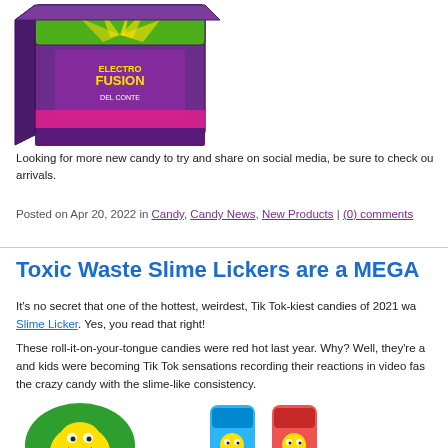[Figure (photo): Colorful candy box (Electro Fusion) product photo, partially cropped at top]
Looking for more new candy to try and share on social media, be sure to check ou arrivals.
Posted on Apr 20, 2022 in Candy, Candy News, New Products | (0) comments
Toxic Waste Slime Lickers are a MEGA
It's no secret that one of the hottest, weirdest, Tik Tok-kiest candies of 2021 was the Slime Licker. Yes, you read that right!
These roll-it-on-your-tongue candies were red hot last year. Why? Well, they're a and kids were becoming Tik Tok sensations recording their reactions in video fas the crazy candy with the slime-like consistency.
[Figure (photo): Toxic Waste Slime Licker mascot character (green and yellow cartoon figure) on left, and two Slime Licker product containers (blue and red/orange) on right]